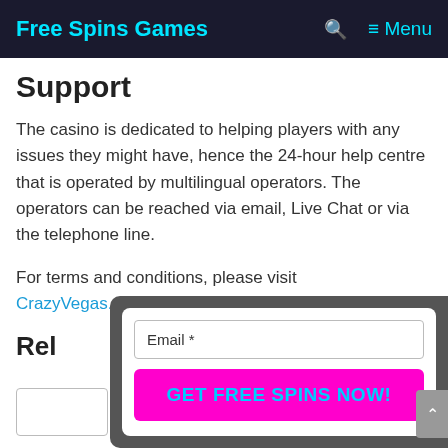Free Spins Games  🔍  ≡ Menu
Support
The casino is dedicated to helping players with any issues they might have, hence the 24-hour help centre that is operated by multilingual operators. The operators can be reached via email, Live Chat or via the telephone line.
For terms and conditions, please visit CrazyVegas.com.
Rel
[Figure (screenshot): A popup form with an email input field and a bright magenta 'GET FREE SPINS NOW!' button in cyan text, overlaid on the page content.]